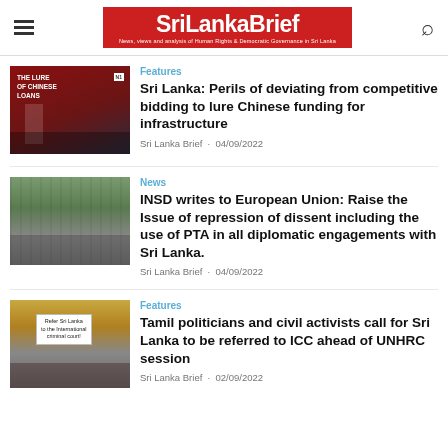SriLankaBrief — News, views and analysis of Human Rights & Democratic Governance in Sri Lanka
[Figure (photo): Book cover: 'The Lure of Chinese Loans' with dark red background and Sri Lanka tower illustration]
Features
Sri Lanka: Perils of deviating from competitive bidding to lure Chinese funding for infrastructure
Sri Lanka Brief · 04/09/2022
[Figure (photo): Street scene with rows of soldiers/police in formation on a road with trees]
News
INSD writes to European Union: Raise the Issue of repression of dissent including the use of PTA in all diplomatic engagements with Sri Lanka.
Sri Lanka Brief · 04/09/2022
[Figure (photo): Protest scene with people holding signs including one reading 'Refer Sri Lanka to the International criminal court!']
Features
Tamil politicians and civil activists call for Sri Lanka to be referred to ICC ahead of UNHRC session
Sri Lanka Brief · 02/09/2022